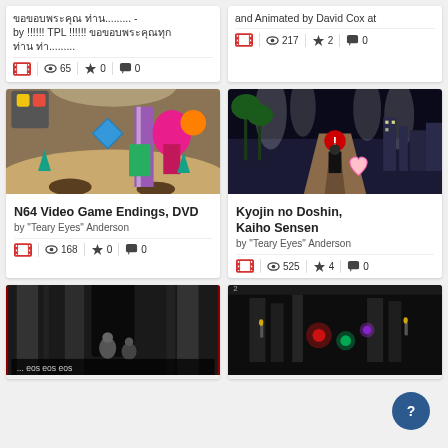... - by !!!!!! TPL !!!!!! ... ...
[Figure (screenshot): Video card stats with film icon, 65 views, 0 stars, 0 comments]
and Animated by David Cox at
[Figure (screenshot): Video card stats with film icon, 217 views, 2 stars, 0 comments]
[Figure (screenshot): N64 Video Game Endings DVD - colorful 3D game screenshot]
N64 Video Game Endings, DVD
by "Teary Eyes" Anderson
[Figure (screenshot): Video stats: 168 views, 0 stars, 0 comments]
[Figure (screenshot): Kyojin no Doshin Kaiho Sensen - dark game screenshot with path and city lights]
Kyojin no Doshin, Kaiho Sensen
by "Teary Eyes" Anderson
[Figure (screenshot): Video stats: 525 views, 4 stars, 0 comments]
[Figure (screenshot): Dark gothic game screenshot - bottom left]
[Figure (screenshot): Dark game screenshot with enemies - bottom right]